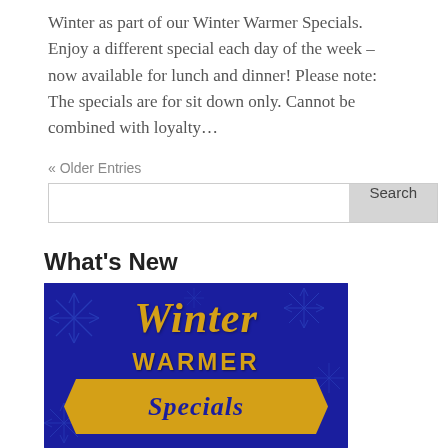Winter as part of our Winter Warmer Specials. Enjoy a different special each day of the week – now available for lunch and dinner! Please note: The specials are for sit down only. Cannot be combined with loyalty...
« Older Entries
Search
What's New
[Figure (illustration): Winter Warmer Specials promotional image on dark blue background with snowflakes, showing 'Winter' in gold italic script, 'WARMER' in gold bold capitals, and 'Specials' in gold italic script on a gold banner/ribbon.]